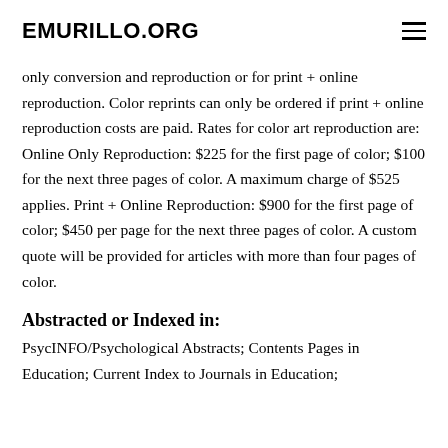EMURILLO.ORG
only conversion and reproduction or for print + online reproduction. Color reprints can only be ordered if print + online reproduction costs are paid. Rates for color art reproduction are: Online Only Reproduction: $225 for the first page of color; $100 for the next three pages of color. A maximum charge of $525 applies. Print + Online Reproduction: $900 for the first page of color; $450 per page for the next three pages of color. A custom quote will be provided for articles with more than four pages of color.
Abstracted or Indexed in:
PsycINFO/Psychological Abstracts; Contents Pages in Education; Current Index to Journals in Education;